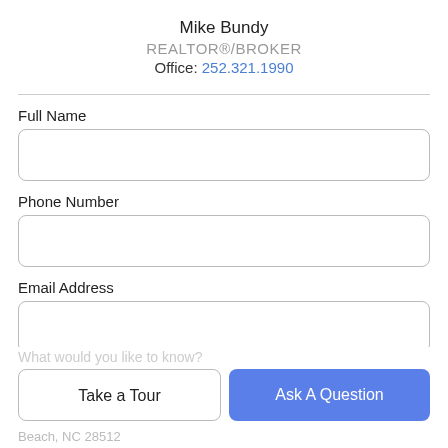Mike Bundy
REALTOR®/BROKER
Office: 252.321.1990
Full Name
Phone Number
Email Address
What would you like to know?
Take a Tour
Ask A Question
Beach, NC 28512